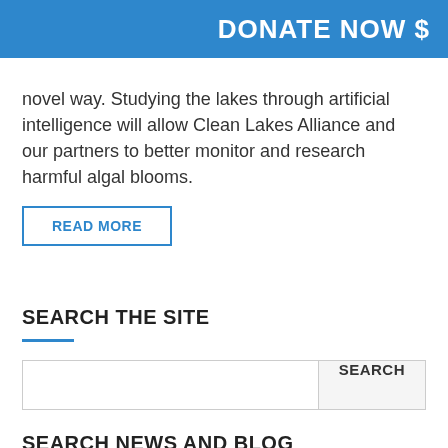DONATE NOW $
novel way. Studying the lakes through artificial intelligence will allow Clean Lakes Alliance and our partners to better monitor and research harmful algal blooms.
READ MORE
SEARCH THE SITE
SEARCH NEWS AND BLOG
Select Category